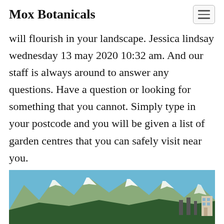Mox Botanicals
will flourish in your landscape. Jessica lindsay wednesday 13 may 2020 10:32 am. And our staff is always around to answer any questions. Have a question or looking for something that you cannot. Simply type in your postcode and you will be given a list of garden centres that you can safely visit near you.
[Figure (photo): Mountain landscape with snow-capped peaks, green forested hills, and a building visible on the right side under a blue sky.]